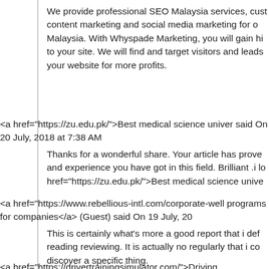We provide professional SEO Malaysia services, cust content marketing and social media marketing for o Malaysia. With Whyspade Marketing, you will gain hi to your site. We will find and target visitors and leads your website for more profits.
<a href="https://zu.edu.pk/">Best medical science univer said On 20 July, 2018 at 7:38 AM
Thanks for a wonderful share. Your article has prove and experience you have got in this field. Brilliant .i lo href="https://zu.edu.pk/">Best medical science unive
<a href="https://www.rebellious-intl.com/corporate-well programs for companies</a> (Guest) said On 19 July, 20
This is certainly what's more a good report that i def reading reviewing. It is actually no regularly that i co discover a specific thing.
<a href="https://drivertrainingsimulator.com/">Driving